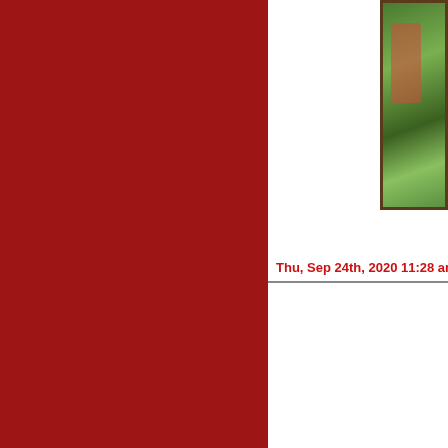[Figure (photo): Red decorative panel on the left side of the page]
[Figure (photo): Small outdoor photo (garden/nature scene with green foliage and red accent) in the upper right corner, framed with a dark brown border]
Thu, Sep 24th, 2020 11:28 am - ...